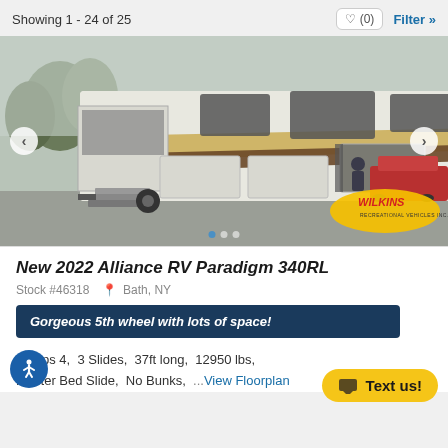Showing 1 - 24 of 25
[Figure (photo): RV/fifth wheel trailer parked outdoors, white exterior with brown and gold accents, slides extended, Wilkins Recreational Vehicles logo visible in lower right corner]
New 2022 Alliance RV Paradigm 340RL
Stock #46318  Bath, NY
Gorgeous 5th wheel with lots of space!
Sleeps 4,  3 Slides,  37ft long,  12950 lbs,  Master Bed Slide,  No Bunks,  ...View Floorplan